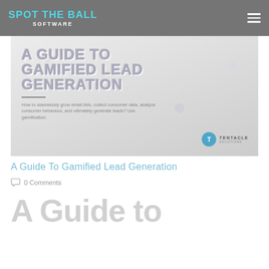SPOT THE BALL SOFTWARE
[Figure (illustration): Hero banner image for 'A Guide to Gamified Lead Generation' with large outlined text on a light gray textured background, a horizontal divider line, subtitle text, and Tentacle Solutions logo badge in the bottom right.]
A Guide To Gamified Lead Generation
0 Comments
A Guide to